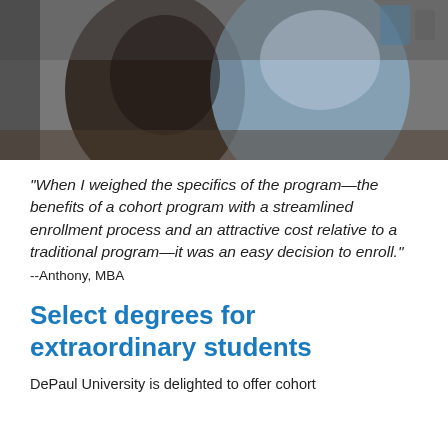[Figure (photo): Two people in a classroom setting — a woman in dark clothing with jewelry, and a man in a light blue shirt, appearing to be in conversation or collaboration.]
“When I weighed the specifics of the program—the benefits of a cohort program with a streamlined enrollment process and an attractive cost relative to a traditional program—it was an easy decision to enroll.”
--Anthony, MBA
Select degrees for extraordinary students
DePaul University is delighted to offer cohort